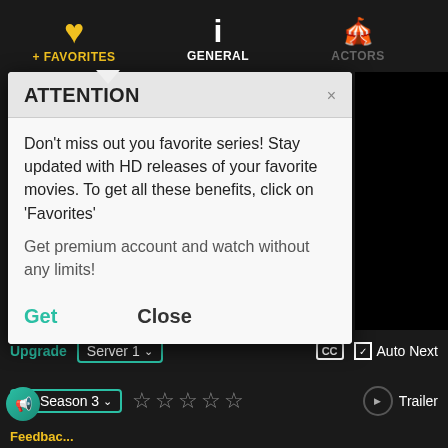[Figure (screenshot): Mobile app navigation bar with three tabs: +FAVORITES (gold heart icon, active), GENERAL (white i icon), ACTORS (gray theater mask icon)]
[Figure (screenshot): Attention modal dialog popup with title 'ATTENTION', body text about favorites and premium account, and Get/Close action buttons]
ATTENTION
Don't miss out you favorite series! Stay updated with HD releases of your favorite movies. To get all these benefits, click on 'Favorites'
Get premium account and watch without any limits!
Get
Close
[Figure (screenshot): Bottom controls: Upgrade button, Server 1 dropdown, CC button, Auto Next toggle, Season 3 selector, star rating (empty), Trailer button, Feedbac... text]
Upgrade
Server 1
Auto Next
Season 3
Trailer
Feedbac...